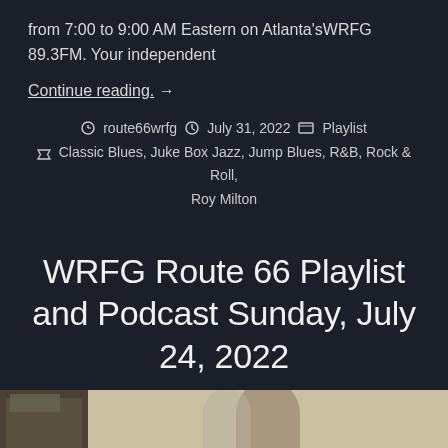from 7:00 to 9:00 AM Eastern on Atlanta'sWRFG 89.3FM. Your independent
Continue reading. →
route66wrfg   July 31, 2022   Playlist   Classic Blues, Juke Box Jazz, Jump Blues, R&B, Rock & Roll, Roy Milton
WRFG Route 66 Playlist and Podcast Sunday, July 24, 2022
[Figure (photo): Bottom strip showing a partial photograph, dark on left side and lighter/beige tone on right with a person's silhouette visible]